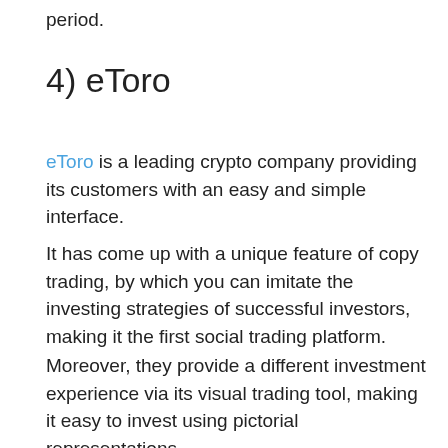period.
4) eToro
eToro is a leading crypto company providing its customers with an easy and simple interface.
It has come up with a unique feature of copy trading, by which you can imitate the investing strategies of successful investors, making it the first social trading platform.
Moreover, they provide a different investment experience via its visual trading tool, making it easy to invest using pictorial representations.
This forum operated in Europe by Cyprus Securities and Exchange Commission does not charge any trading and deposit fees.